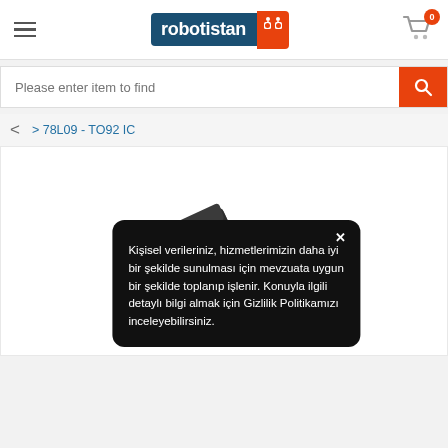robotistan — e-commerce header with hamburger menu, logo, and cart icon (0 items)
Please enter item to find
> 78L09 - TO92 IC
[Figure (photo): A small black TO-92 integrated circuit (IC) component, viewed at an angle, shown against a white background.]
Kişisel verileriniz, hizmetlerimizin daha iyi bir şekilde sunulması için mevzuata uygun bir şekilde toplanıp işlenir. Konuyla ilgili detaylı bilgi almak için Gizlilik Politikamızı inceleyebilirsiniz.